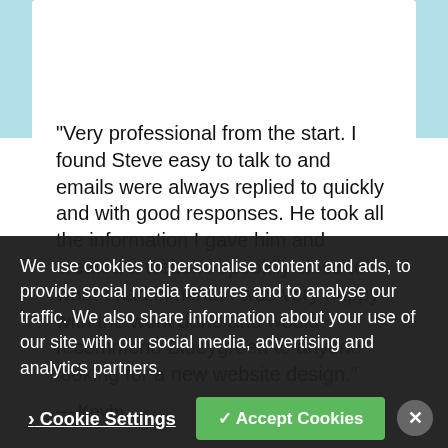"Very professional from the start. I found Steve easy to talk to and emails were always replied to quickly and with good responses. He took all the information I gave him and created a website spookily close to what I had in mind! I was very happy with the work done and would recommend Blueygreen to anyone looking for a new website design."
— Kevin
We use cookies to personalise content and ads, to provide social media features and to analyse our traffic. We also share information about your use of our site with our social media, advertising and analytics partners.
Cookie Settings
✓ Accept Cookies
"Blueygreen have produced two very